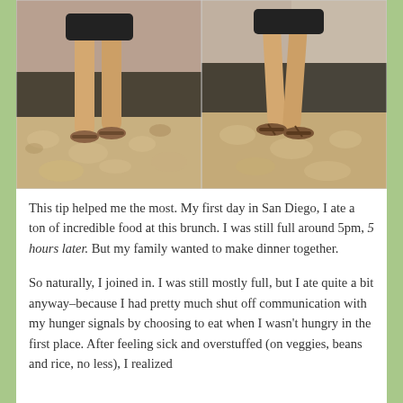[Figure (photo): Two side-by-side photos of a person's legs wearing sandals while sitting outdoors on what appears to be a bench or chair, with dappled sunlight and shadows on the ground below.]
This tip helped me the most. My first day in San Diego, I ate a ton of incredible food at this brunch. I was still full around 5pm, 5 hours later. But my family wanted to make dinner together.
So naturally, I joined in. I was still mostly full, but I ate quite a bit anyway–because I had pretty much shut off communication with my hunger signals by choosing to eat when I wasn't hungry in the first place. After feeling sick and overstuffed (on veggies, beans and rice, no less), I realized